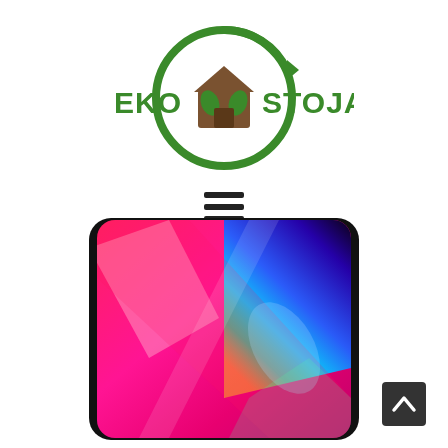[Figure (logo): EkoStoja logo: green circular arrow with a brown house icon in the center containing a green leaf. Text 'EKO' on left and 'STOJA' on right in green bold letters.]
[Figure (other): Hamburger menu icon: three horizontal dark lines stacked vertically.]
[Figure (photo): A smartphone (iPhone-style) with edge-to-edge display showing a colorful abstract wallpaper with pink, magenta, blue, and black light beams. The phone has a dark/black frame with rounded corners.]
[Figure (other): Back-to-top button: dark square with upward chevron arrow icon in white.]